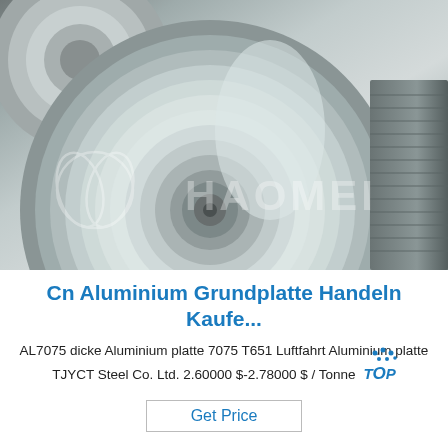[Figure (photo): Large rolls of shiny aluminum coil/sheet metal stacked together. A watermark logo and 'HAOMEI' text overlay the image.]
Cn Aluminium Grundplatte Handeln Kaufe...
AL7075 dicke Aluminium platte 7075 T651 Luftfahrt Aluminium platte TJYCT Steel Co. Ltd. 2.60000 $-2.78000 $ / Tonne TOP
Get Price